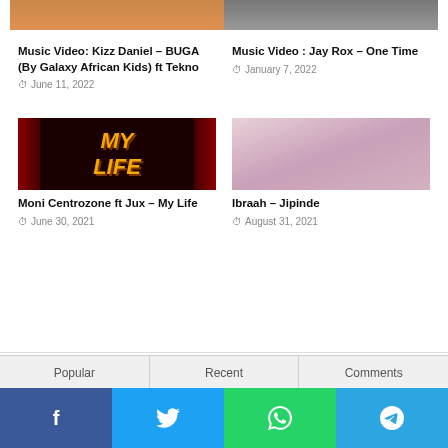[Figure (photo): Partial top image - Kizz Daniel BUGA thumbnail (orange/savanna background)]
[Figure (photo): Partial top image - Jay Rox One Time thumbnail (dark/black and white)]
Music Video: Kizz Daniel – BUGA (By Galaxy African Kids) ft Tekno
June 11, 2022
Music Video : Jay Rox – One Time
January 7, 2022
[Figure (photo): My Life - dark red curtain background with yellow bold text 'MY LIFE']
[Figure (photo): Ibraah Jipinde - man in pink suit at outdoor table with woman in pink dress]
Moni Centrozone ft Jux – My Life
June 30, 2021
Ibraah – Jipinde
August 31, 2021
Popular
Recent
Comments